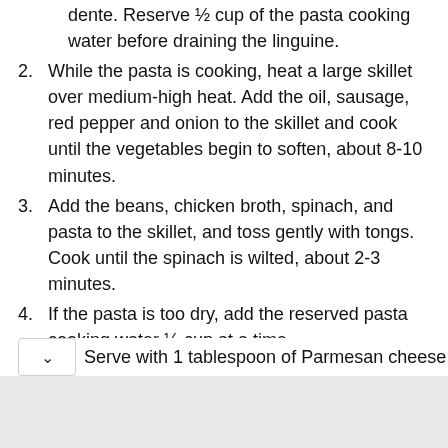(partial) linguine according to package directions for al dente. Reserve ½ cup of the pasta cooking water before draining the linguine.
2. While the pasta is cooking, heat a large skillet over medium-high heat. Add the oil, sausage, red pepper and onion to the skillet and cook until the vegetables begin to soften, about 8-10 minutes.
3. Add the beans, chicken broth, spinach, and pasta to the skillet, and toss gently with tongs. Cook until the spinach is wilted, about 2-3 minutes.
4. If the pasta is too dry, add the reserved pasta cooking water ¼ cup at a time.
5. Season with salt and black pepper.
Serve with 1 tablespoon of Parmesan cheese